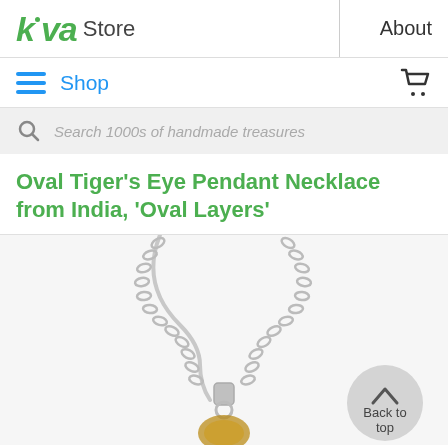kiva Store | About
Shop
Search 1000s of handmade treasures
Oval Tiger's Eye Pendant Necklace from India, 'Oval Layers'
[Figure (photo): Photo of an oval tiger's eye pendant necklace with a silver chain, partially visible, with a 'Back to top' circular button overlaid in the bottom right corner.]